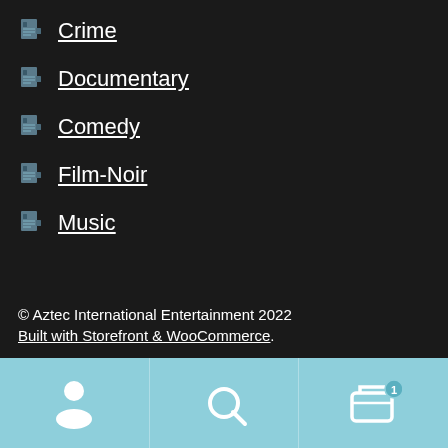Crime
Documentary
Comedy
Film-Noir
Music
© Aztec International Entertainment 2022
Built with Storefront & WooCommerce.